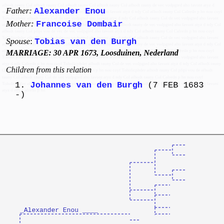Father: Alexander Enou
Mother: Francoise Dombair
Spouse: Tobias van den Burgh
MARRIAGE: 30 APR 1673, Loosduinen, Nederland
Children from this relation
1. Johannes van den Burgh (7 FEB 1683 -)
[Figure (other): Genealogical tree diagram showing family relationships with dashed lines connecting nodes, including Alexander Enou at the bottom left]